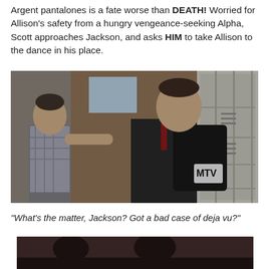Argent pantalones is a fate worse than DEATH!  Worried for Allison's safety from a hungry vengeance-seeking Alpha, Scott approaches Jackson, and asks HIM to take Allison to the dance in his place.
[Figure (photo): Two teenage boys in a school locker room hallway. One boy in a plaid shirt leans against a locker while another in a black jacket with a red backpack with MTV logo faces him. Scene from Teen Wolf TV show.]
“What’s the matter, Jackson?  Got a bad case of deja vu?”
[Figure (photo): Partial view of a dark scene, bottom of page, appears to show characters in dim lighting.]